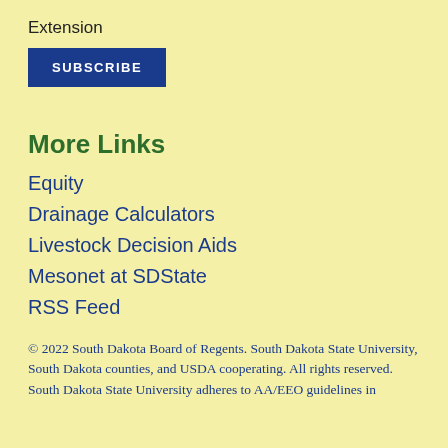Extension
SUBSCRIBE
More Links
Equity
Drainage Calculators
Livestock Decision Aids
Mesonet at SDState
RSS Feed
© 2022 South Dakota Board of Regents. South Dakota State University, South Dakota counties, and USDA cooperating. All rights reserved. South Dakota State University adheres to AA/EEO guidelines in